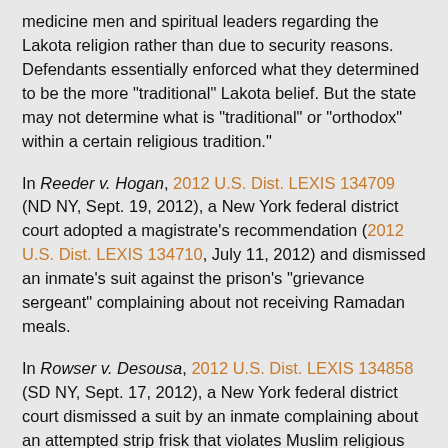medicine men and spiritual leaders regarding the Lakota religion rather than due to security reasons. Defendants essentially enforced what they determined to be the more "traditional" Lakota belief. But the state may not determine what is "traditional" or "orthodox" within a certain religious tradition."
In Reeder v. Hogan, 2012 U.S. Dist. LEXIS 134709 (ND NY, Sept. 19, 2012), a New York federal district court adopted a magistrate's recommendation (2012 U.S. Dist. LEXIS 134710, July 11, 2012) and dismissed an inmate's suit against the prison's "grievance sergeant" complaining about not receiving Ramadan meals.
In Rowser v. Desousa, 2012 U.S. Dist. LEXIS 134858 (SD NY, Sept. 17, 2012), a New York federal district court dismissed a suit by an inmate complaining about an attempted strip frisk that violates Muslim religious rules.
In Myers v. Burdick, 2012 U.S. Dist. LEXIS 135999 (ED WI, Sept. 24, 2012), a Wisconsin federal district court permitted an inmate to proceed with his RLUIPA claim (but not his free